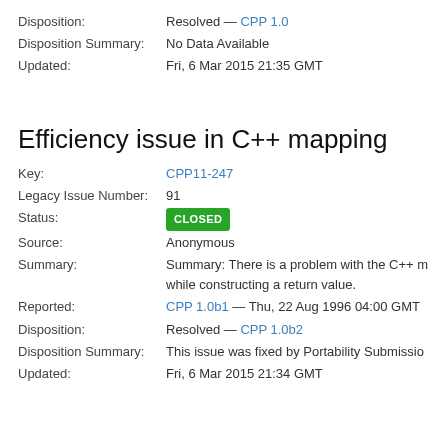Disposition: Resolved — CPP 1.0
Disposition Summary: No Data Available
Updated: Fri, 6 Mar 2015 21:35 GMT
Efficiency issue in C++ mapping
Key: CPP11-247
Legacy Issue Number: 91
Status: CLOSED
Source: Anonymous
Summary: Summary: There is a problem with the C++ m while constructing a return value.
Reported: CPP 1.0b1 — Thu, 22 Aug 1996 04:00 GMT
Disposition: Resolved — CPP 1.0b2
Disposition Summary: This issue was fixed by Portability Submissio
Updated: Fri, 6 Mar 2015 21:34 GMT